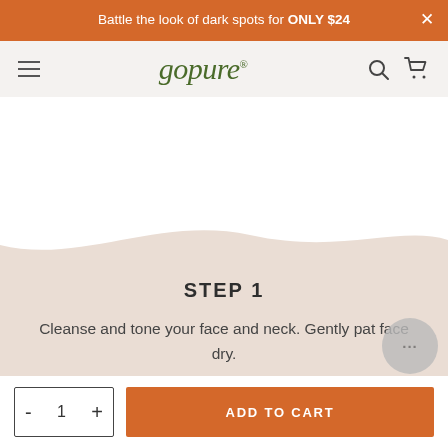Battle the look of dark spots for ONLY $24
[Figure (logo): goPure brand logo in italic green serif font with registered trademark symbol]
STEP 1
Cleanse and tone your face and neck. Gently pat face dry.